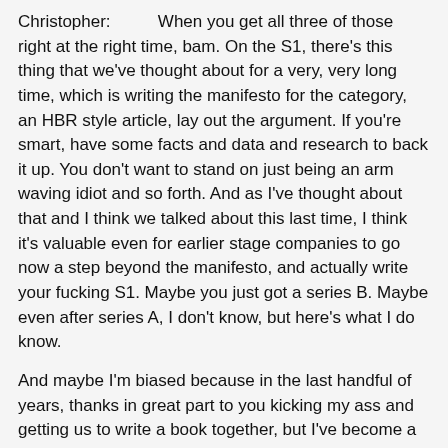Christopher: When you get all three of those right at the right time, bam. On the S1, there's this thing that we've thought about for a very, very long time, which is writing the manifesto for the category, an HBR style article, lay out the argument. If you're smart, have some facts and data and research to back it up. You don't want to stand on just being an arm waving idiot and so forth. And as I've thought about that and I think we talked about this last time, I think it's valuable even for earlier stage companies to go now a step beyond the manifesto, and actually write your fucking S1. Maybe you just got a series B. Maybe even after series A, I don't know, but here's what I do know.
And maybe I'm biased because in the last handful of years, thanks in great part to you kicking my ass and getting us to write a book together, but I've become a writer. I write almost daily and as a dyslexic guy, that's